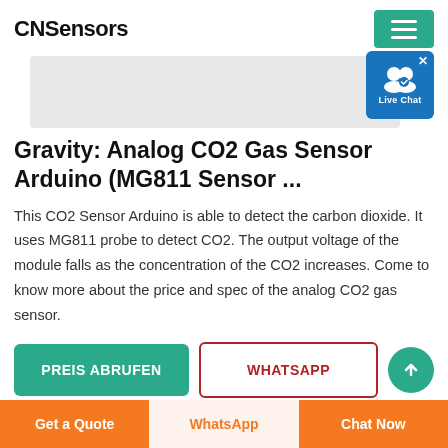CNSensors
[Figure (screenshot): Product image placeholder (gray bar) with Live Chat badge overlay]
Gravity: Analog CO2 Gas Sensor Arduino (MG811 Sensor ...
This CO2 Sensor Arduino is able to detect the carbon dioxide. It uses MG811 probe to detect CO2. The output voltage of the module falls as the concentration of the CO2 increases. Come to know more about the price and spec of the analog CO2 gas sensor.
PREIS ABRUFEN
WHATSAPP
Get a Quote | WhatsApp | Chat Now